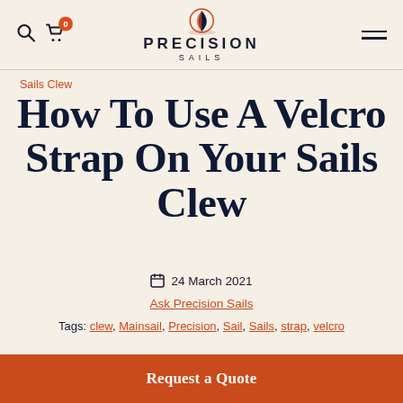[Figure (logo): Precision Sails logo with sailboat icon, text PRECISION SAILS]
Precision Sails website header with search icon, cart with 0 items, logo, and hamburger menu
Sails Clew
How To Use A Velcro Strap On Your Sails Clew
24 March 2021
Ask Precision Sails
Tags: clew, Mainsail, Precision, Sail, Sails, strap, velcro
Request a Quote